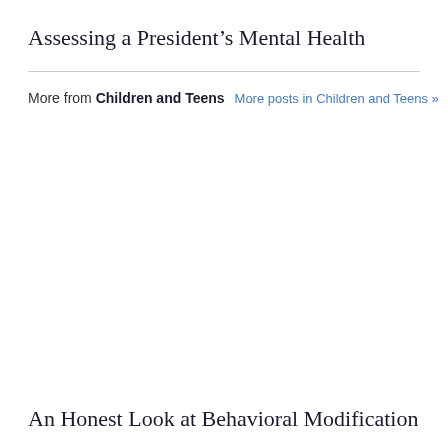Assessing a President’s Mental Health
More from Children and Teens  More posts in Children and Teens »
An Honest Look at Behavioral Modification